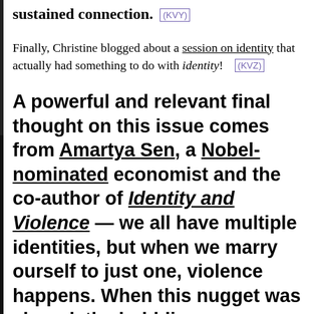sustained connection. (KVY)
Finally, Christine blogged about a session on identity that actually had something to do with identity! (KVZ)
A powerful and relevant final thought on this issue comes from Amartya Sen, a Nobel-nominated economist and the co-author of Identity and Violence — we all have multiple identities, but when we marry ourself to just one, violence happens. When this nugget was shared, the bubbling